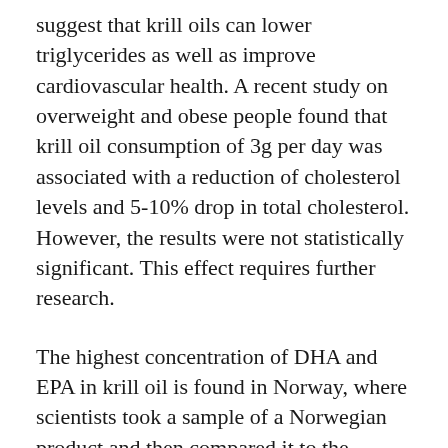suggest that krill oils can lower triglycerides as well as improve cardiovascular health. A recent study on overweight and obese people found that krill oil consumption of 3g per day was associated with a reduction of cholesterol levels and 5-10% drop in total cholesterol. However, the results were not statistically significant. This effect requires further research.
The highest concentration of DHA and EPA in krill oil is found in Norway, where scientists took a sample of a Norwegian product and then compared it to the equivalent amount of krill oil. That sample contained 600 mg of fish oil, 288 mg of EPA + DHA, and 330 mg of omega-3 PUFAs. Krill oil contained only 63% of the amount of fish oil, making it a more natural supplement to supplement diet.